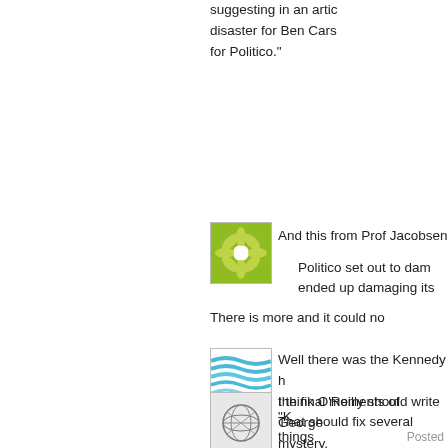suggesting in an article... disaster for Ben Carson... for Politico."
[Figure (illustration): Green flower/mandala pattern avatar icon]
And this from Prof Jacobsen
Politico set out to dam... ended up damaging its...
There is more and it could no...
[Figure (illustration): Blue wavy lines avatar icon]
Well there was the Kennedy h... the final moments of George ... mystery.
[Figure (illustration): Grey geometric lines/sphere avatar icon]
I think O'Reilly should write "K...
That should fix several things...
Posted